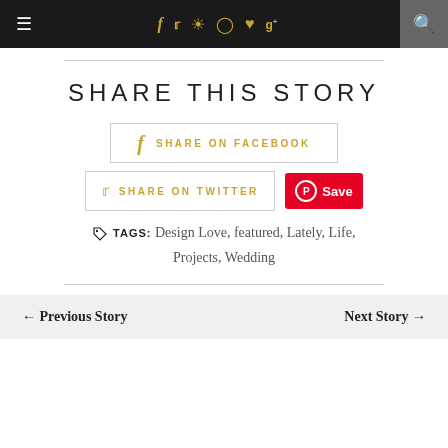≡  f  𝕥  📷  𝕡  ♥  g+  🔍
SHARE THIS STORY
f SHARE ON FACEBOOK
🐦 SHARE ON TWITTER  [Pinterest Save]
TAGS: Design Love, featured, Lately, Life, Projects, Wedding
← Previous Story    Next Story →